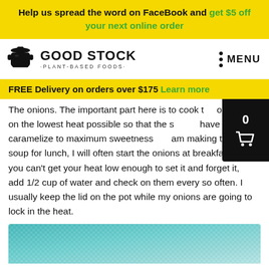Help us spread the word on FaceBook and get $5 off your next online order
[Figure (logo): Good Stock Plant-Based Foods logo with a black cooking pot icon and brand name]
MENU
FREE Delivery on orders over $175 Learn more
The onions. The important part here is to cook the onions on the lowest heat possible so that the sugars have time to caramelize to maximum sweetness. If I am making this soup for lunch, I will often start the onions at breakfast. If you can't get your heat low enough to set it and forget it, add 1/2 cup of water and check on them every so often. I usually keep the lid on the pot while my onions are going to lock in the heat.
[Figure (photo): Teal/turquoise knitted or woven textile fabric, partially visible at the bottom of the page]